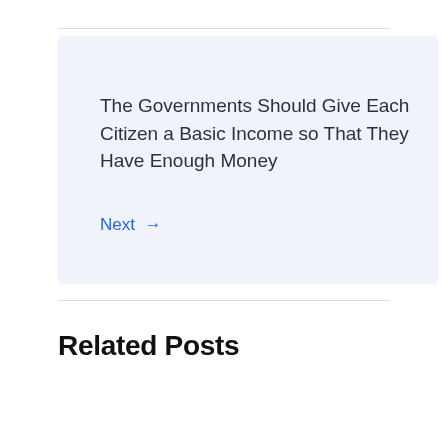The Governments Should Give Each Citizen a Basic Income so That They Have Enough Money
Next →
Related Posts